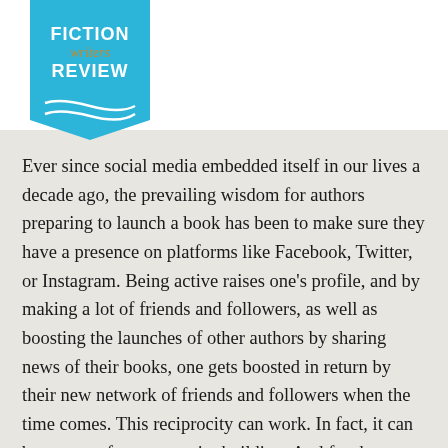FICTION writers REVIEW | MENU
Ever since social media embedded itself in our lives a decade ago, the prevailing wisdom for authors preparing to launch a book has been to make sure they have a presence on platforms like Facebook, Twitter, or Instagram. Being active raises one’s profile, and by making a lot of friends and followers, as well as boosting the launches of other authors by sharing news of their books, one gets boosted in return by their new network of friends and followers when the time comes. This reciprocity can work. In fact, it can be a center for community building. And for those who already use social media as part of their daily lives, or for whom these spaces are an